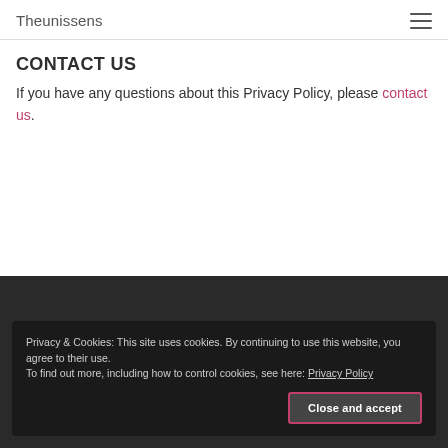Theunissens
CONTACT US
If you have any questions about this Privacy Policy, please contact us.
Privacy & Cookies: This site uses cookies. By continuing to use this website, you agree to their use.
To find out more, including how to control cookies, see here: Privacy Policy